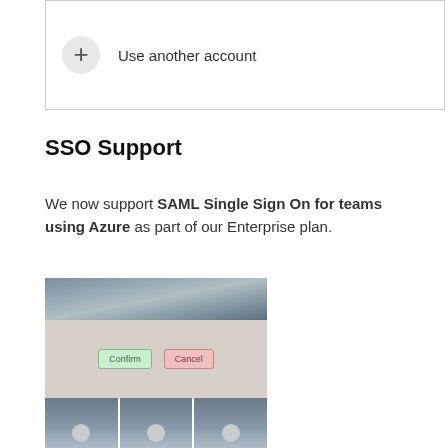[Figure (screenshot): UI element showing a '+' circle button with text 'Use another account' inside a bordered box]
SSO Support
We now support SAML Single Sign On for teams using Azure as part of our Enterprise plan.
[Figure (screenshot): Screenshot showing a dialog with Confirm and Cancel buttons, and thumbnail images at the bottom]